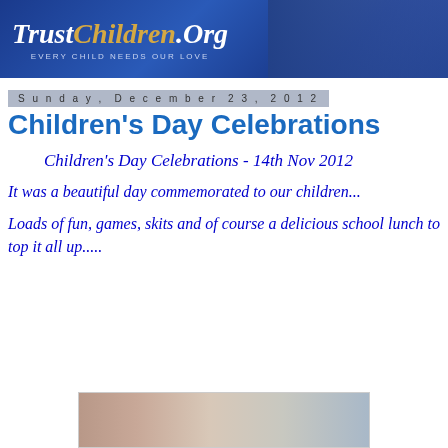[Figure (logo): TrustChildren.Org banner with logo text and children photos on blue background, tagline EVERY CHILD NEEDS OUR LOVE]
Sunday, December 23, 2012
Children's Day Celebrations
Children's Day Celebrations - 14th Nov 2012
It was a beautiful day commemorated to our children...
Loads of fun, games, skits and of course a delicious school lunch to top it all up.....
[Figure (photo): Partial photo of children at school event, bottom of page]